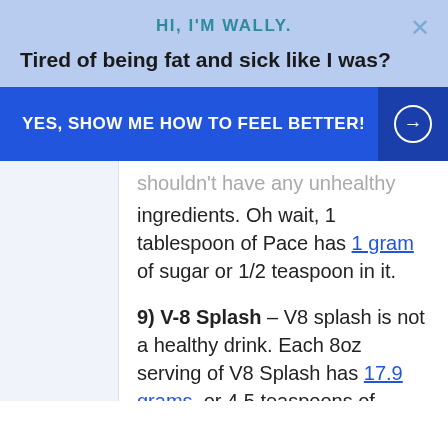HI, I'M WALLY.
Tired of being fat and sick like I was?
YES, SHOW ME HOW TO FEEL BETTER!
shouldn't have any unhealthy ingredients. Oh wait, 1 tablespoon of Pace has 1 gram of sugar or 1/2 teaspoon in it.
9) V-8 Splash – V8 splash is not a healthy drink. Each 8oz serving of V8 Splash has 17.9 grams, or 4.5 teaspoons of sugar in it.